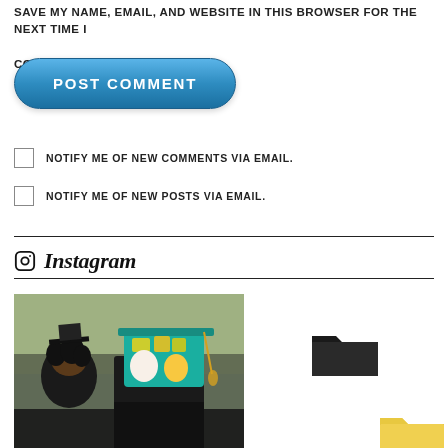SAVE MY NAME, EMAIL, AND WEBSITE IN THIS BROWSER FOR THE NEXT TIME I COMMENT.
[Figure (screenshot): Blue rounded POST COMMENT button]
NOTIFY ME OF NEW COMMENTS VIA EMAIL.
NOTIFY ME OF NEW POSTS VIA EMAIL.
Instagram
[Figure (photo): Graduation ceremony photo showing decorated mortarboard cap with teal/turquoise design featuring cartoon characters]
[Figure (illustration): Dark folder icon]
[Figure (illustration): Yellow folder icon]